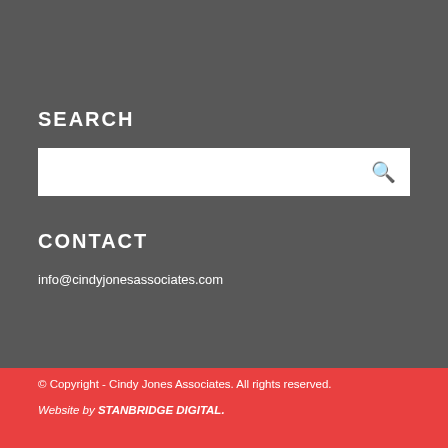SEARCH
[Figure (other): Search input box with magnifying glass icon]
CONTACT
info@cindyjonesassociates.com
© Copyright - Cindy Jones Associates. All rights reserved.
Website by STANBRIDGE DIGITAL.